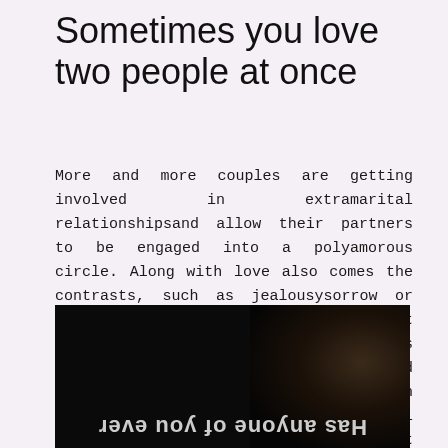Sometimes you love two people at once
More and more couples are getting involved in extramarital relationshipsand allow their partners to be engaged into a polyamorous circle. Along with love also comes the contrasts, such as jealousysorrow or fear of abandonment. Sex is the most intimate human connectionand sometimes it Adult friends finder Richmond Virginia be so intense that it can alter your whole former emotional background that you had with your first man.
[Figure (photo): Dark photograph of a person with mirrored/reversed text overlay reading 'Has anyone of you ever' displayed at the bottom of the image]